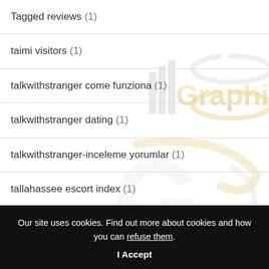Tagged reviews (1)
taimi visitors (1)
talkwithstranger come funziona (1)
talkwithstranger dating (1)
talkwithstranger-inceleme yorumlar (1)
tallahassee escort index (1)
[Figure (logo): III Graphix logo with gold and silver stylized text and swoosh, repeated as watermark]
Our site uses cookies. Find out more about cookies and how you can refuse them.
I Accept